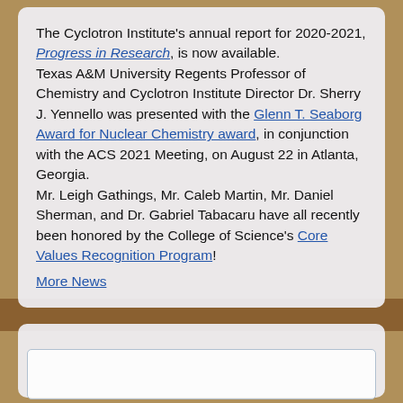The Cyclotron Institute's annual report for 2020-2021, Progress in Research, is now available.
Texas A&M University Regents Professor of Chemistry and Cyclotron Institute Director Dr. Sherry J. Yennello was presented with the Glenn T. Seaborg Award for Nuclear Chemistry award, in conjunction with the ACS 2021 Meeting, on August 22 in Atlanta, Georgia.
Mr. Leigh Gathings, Mr. Caleb Martin, Mr. Daniel Sherman, and Dr. Gabriel Tabacaru have all recently been honored by the College of Science's Core Values Recognition Program!
More News